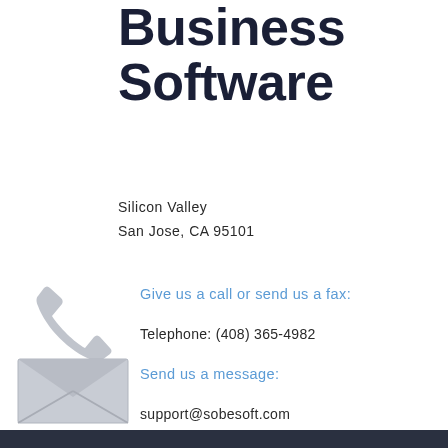Business Software
Silicon Valley
San Jose, CA 95101
[Figure (illustration): Gray telephone handset icon]
Give us a call or send us a fax:
Telephone: (408) 365-4982
[Figure (illustration): Gray envelope/mail icon with X fold lines]
Send us a message:
support@sobesoft.com